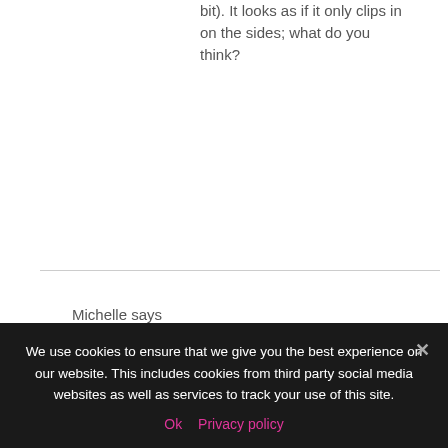bit). It looks as if it only clips in on the sides; what do you think?
Michelle says
We use cookies to ensure that we give you the best experience on our website. This includes cookies from third party social media websites as well as services to track your use of this site.
Ok  Privacy policy